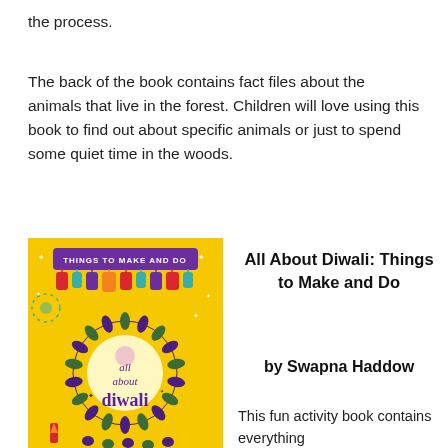the process.
The back of the book contains fact files about the animals that live in the forest. Children will love using this book to find out about specific animals or just to spend some quiet time in the woods.
[Figure (illustration): Book cover of 'All About Diwali: Things to Make and Do' with a yellow background featuring colorful lanterns, fireworks, and decorative floral patterns with the text 'all about diwali' prominently displayed.]
All About Diwali: Things to Make and Do
by Swapna Haddow
This fun activity book contains everything